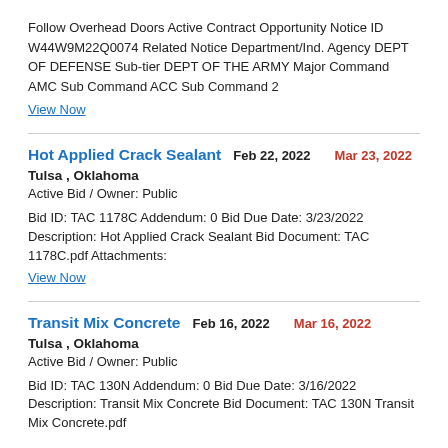Follow Overhead Doors Active Contract Opportunity Notice ID W44W9M22Q0074 Related Notice Department/Ind. Agency DEPT OF DEFENSE Sub-tier DEPT OF THE ARMY Major Command AMC Sub Command ACC Sub Command 2
View Now
Hot Applied Crack Sealant
Feb 22, 2022
Mar 23, 2022
Tulsa , Oklahoma
Active Bid / Owner: Public
Bid ID: TAC 1178C Addendum: 0 Bid Due Date: 3/23/2022 Description: Hot Applied Crack Sealant Bid Document: TAC 1178C.pdf Attachments:
View Now
Transit Mix Concrete
Feb 16, 2022
Mar 16, 2022
Tulsa , Oklahoma
Active Bid / Owner: Public
Bid ID: TAC 130N Addendum: 0 Bid Due Date: 3/16/2022 Description: Transit Mix Concrete Bid Document: TAC 130N Transit Mix Concrete.pdf